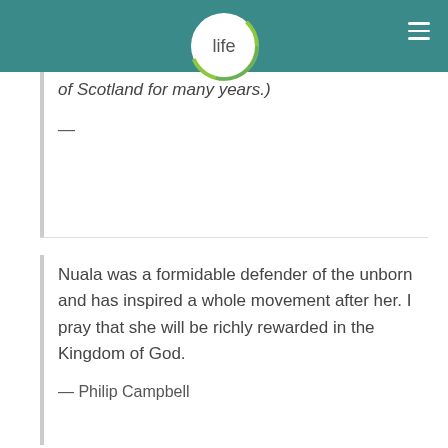life
of Scotland for many years.)
—
Nuala was a formidable defender of the unborn and has inspired a whole movement after her. I pray that she will be richly rewarded in the Kingdom of God.
— Philip Campbell